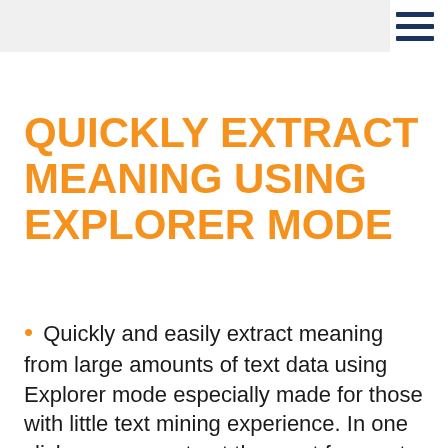QUICKLY EXTRACT MEANING USING EXPLORER MODE
Quickly and easily extract meaning from large amounts of text data using Explorer mode especially made for those with little text mining experience. In one click, you can extract the most frequent words, phrases and the most salient topics in your documents.